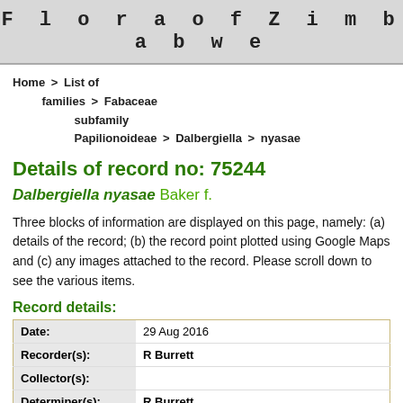Flora of Zimbabwe
Home > List of families > Fabaceae subfamily Papilionoideae > Dalbergiella > nyasae
Details of record no: 75244
Dalbergiella nyasae Baker f.
Three blocks of information are displayed on this page, namely: (a) details of the record; (b) the record point plotted using Google Maps and (c) any images attached to the record. Please scroll down to see the various items.
Record details:
| Field | Value |
| --- | --- |
| Date: | 29 Aug 2016 |
| Recorder(s): | R Burrett |
| Collector(s): |  |
| Determiner(s): | R Burrett |
| Confirmer(s): |  |
| Herbarium: |  |
| Habitat: | Open mixed deciduous woodland at the base of |